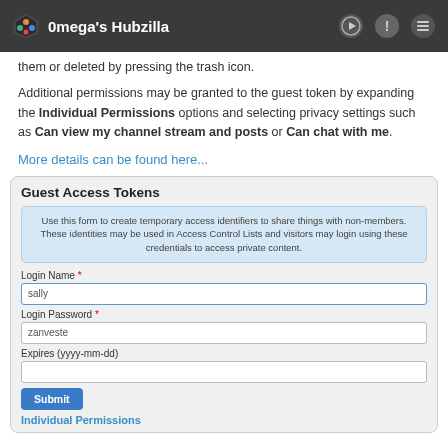0mega's Hubzilla
them or deleted by pressing the trash icon.
Additional permissions may be granted to the guest token by expanding the Individual Permissions options and selecting privacy settings such as Can view my channel stream and posts or Can chat with me.
More details can be found here...
Guest Access Tokens
Use this form to create temporary access identifiers to share things with non-members. These identities may be used in Access Control Lists and visitors may login using these credentials to access private content.
Login Name *
sally
Login Password *
zanveste
Expires (yyyy-mm-dd)
Submit
Individual Permissions